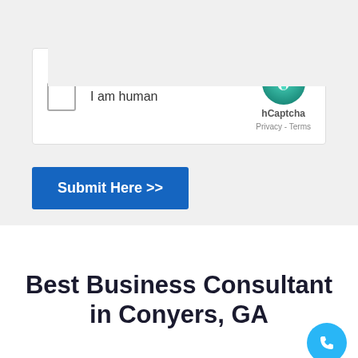14 + 6 = [Use a number]
[Figure (screenshot): hCaptcha widget with checkbox labeled 'I am human', hCaptcha logo, Privacy and Terms links]
Submit Here >>
Best Business Consultant in Conyers, GA